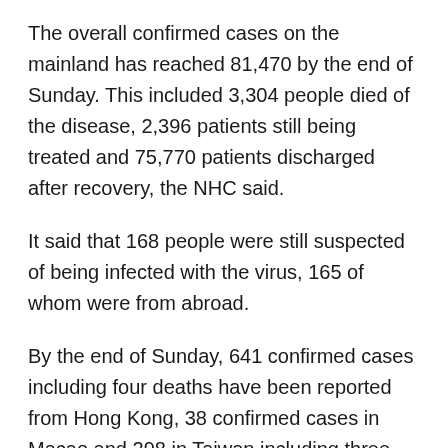The overall confirmed cases on the mainland has reached 81,470 by the end of Sunday. This included 3,304 people died of the disease, 2,396 patients still being treated and 75,770 patients discharged after recovery, the NHC said.
It said that 168 people were still suspected of being infected with the virus, 165 of whom were from abroad.
By the end of Sunday, 641 confirmed cases including four deaths have been reported from Hong Kong, 38 confirmed cases in Macao and 298 in Taiwan including three deaths.
A total of 118 patients in Hong Kong, 10 in Macao and 39 in Taiwan have been discharged from the hospital after recovery.
China on Sunday resumed domestic flights in the coronavirus epicenter Hubei province, except for its capital Wuhan...